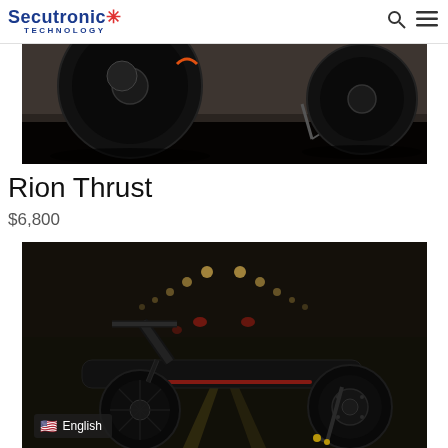Secutronic Technology
[Figure (photo): Close-up photo of electric scooter wheels on asphalt road with dark lower portion]
Rion Thrust
$6,800
[Figure (photo): Electric scooter (Rion Thrust) photographed at night on a road, front and side view showing black body, large wheels with hub motor, and kickstand with gold accents. English language selector badge visible at bottom left.]